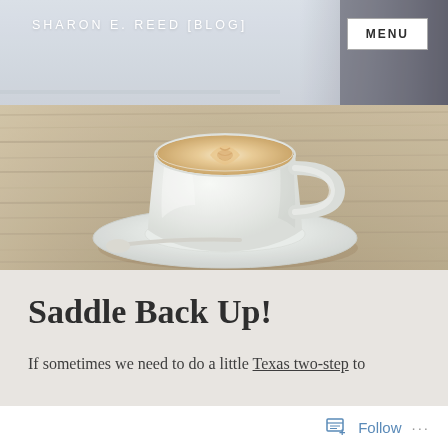SHARON E. REED [BLOG]
[Figure (photo): A white ceramic coffee cup with latte art on a saucer, placed on a rustic wooden table. Soft natural light from windows in background.]
Saddle Back Up!
If sometimes we need to do a little Texas two-step to
Follow ...